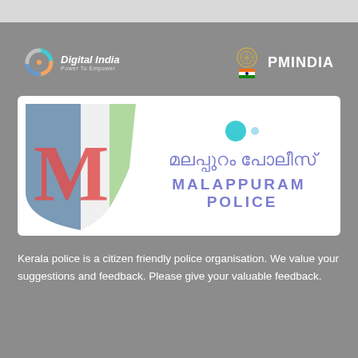[Figure (logo): Digital India – Power To Empower logo with stylized D icon in orange and teal]
[Figure (logo): PMINDIA logo with Ashoka emblem and Indian flag]
[Figure (logo): Malappuram Police banner with shield logo, Malayalam text 'മലപ്പുറം പോലീസ്' and English text 'MALAPPURAM POLICE']
Kerala police is a citizen friendly police organisation. We value your suggestions and feedback. Please give your valuable feedback.